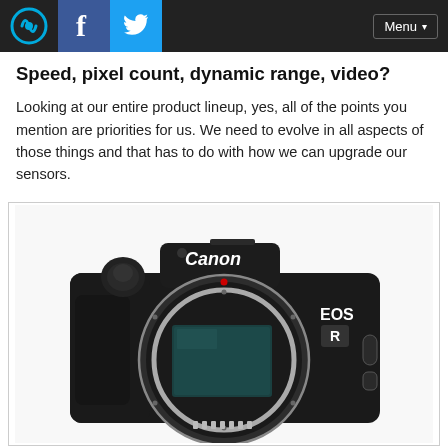Navigation bar with logo, Facebook, Twitter icons and Menu button
Speed, pixel count, dynamic range, video?
Looking at our entire product lineup, yes, all of the points you mention are priorities for us. We need to evolve in all aspects of those things and that has to do with how we can upgrade our sensors.
[Figure (photo): Canon EOS R mirrorless camera body without lens, showing the camera mount with sensor visible, shot against white background]